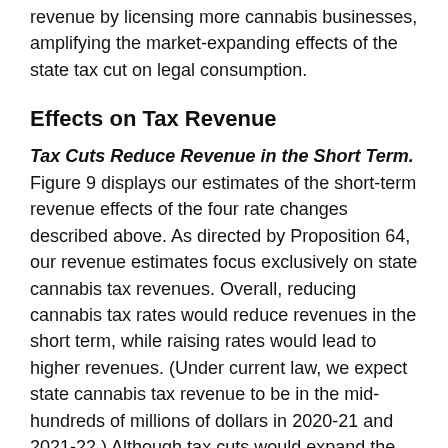revenue by licensing more cannabis businesses, amplifying the market-expanding effects of the state tax cut on legal consumption.
Effects on Tax Revenue
Tax Cuts Reduce Revenue in the Short Term. Figure 9 displays our estimates of the short-term revenue effects of the four rate changes described above. As directed by Proposition 64, our revenue estimates focus exclusively on state cannabis tax revenues. Overall, reducing cannabis tax rates would reduce revenues in the short term, while raising rates would lead to higher revenues. (Under current law, we expect state cannabis tax revenue to be in the mid-hundreds of millions of dollars in 2020-21 and 2021-22.) Although tax cuts would expand the legal market, this effect would not be anywhere near large enough to fully offset the revenue loss. Modest rate increases, on the other